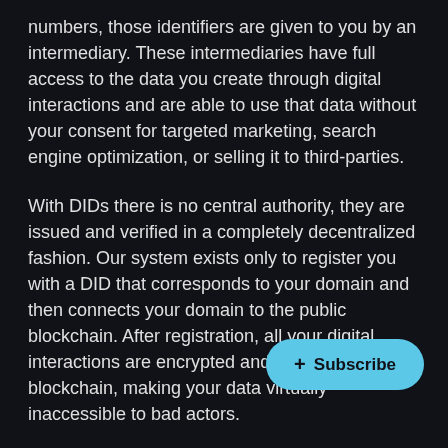numbers, those identifiers are given to you by an intermediary. These intermediaries have full access to the data you create through digital interactions and are able to use that data without your consent for targeted marketing, search engine optimization, or selling it to third-parties.
With DIDs there is no central authority, they are issued and verified in a completely decentralized fashion. Our system exists only to register you with a DID that corresponds to your domain and then connects your domain to the public blockchain. After registration, all your digital interactions are encrypted and stored on the blockchain, making your data virtually inaccessible to bad actors.
DIDs are the first step in giving users control over their